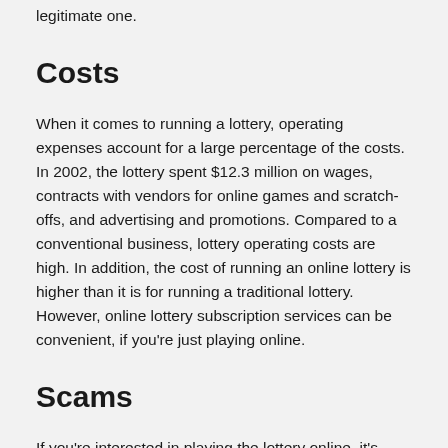legitimate one.
Costs
When it comes to running a lottery, operating expenses account for a large percentage of the costs. In 2002, the lottery spent $12.3 million on wages, contracts with vendors for online games and scratch-offs, and advertising and promotions. Compared to a conventional business, lottery operating costs are high. In addition, the cost of running an online lottery is higher than it is for running a traditional lottery. However, online lottery subscription services can be convenient, if you’re just playing online.
Scams
If you’re interested in playing the lottery online, it’s important to be aware of the various scams and how